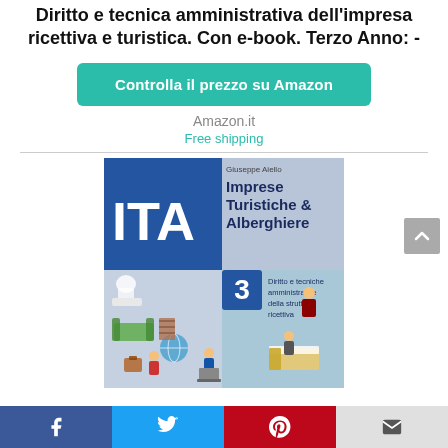Diritto e tecnica amministrativa dell'impresa ricettiva e turistica. Con e-book. Terzo Anno: -
Controlla il prezzo su Amazon
Amazon.it
Free shipping
[Figure (photo): Book cover of 'ITA - Imprese Turistiche & Alberghiere 3' by Giuseppe Aiello, showing blue and grey illustrated cover with hotel/tourism themed icons and the subtitle 'Diritto e tecniche amministrative della struttura ricettiva']
Facebook | Twitter | Pinterest | Email